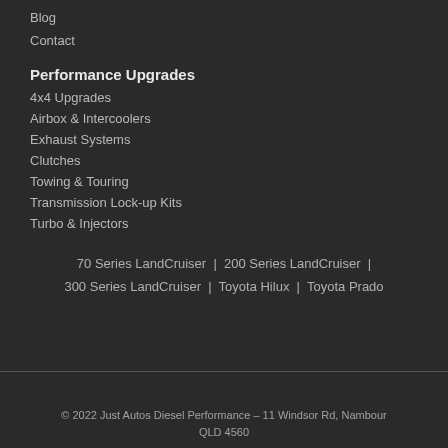Blog
Contact
Performance Upgrades
4x4 Upgrades
Airbox & Intercoolers
Exhaust Systems
Clutches
Towing & Touring
Transmission Lock-up Kits
Turbo & Injectors
70 Series LandCruiser |  200 Series LandCruiser |  300 Series LandCruiser |  Toyota Hilux |  Toyota Prado
© 2022 Just Autos Diesel Performance – 11 Windsor Rd, Nambour QLD 4560